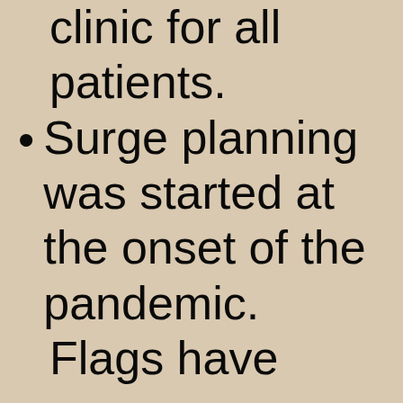clinic for all patients.
Surge planning was started at the onset of the pandemic.
Flags have